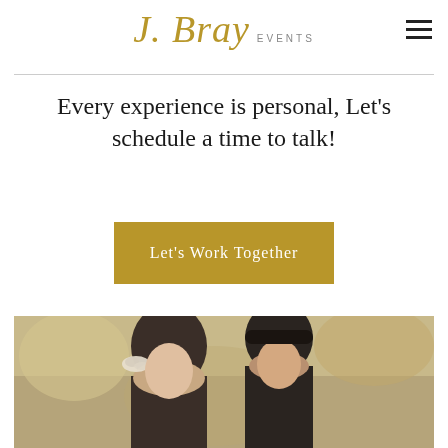J. Bray EVENTS
Every experience is personal, Let's schedule a time to talk!
Let's Work Together
[Figure (photo): A couple in a wedding setting; the woman has a floral hair accessory and the man is leaning close to her, both with dark hair, photographed outdoors with a soft blurred background.]